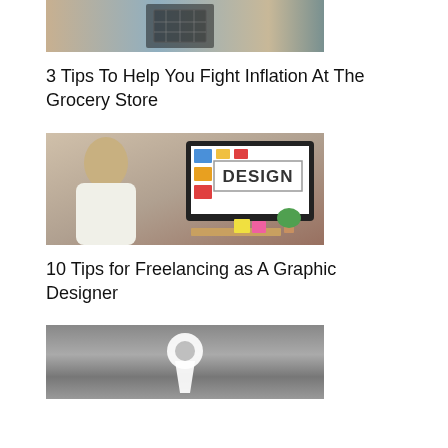[Figure (photo): Grocery store shopping scene with a cart and store shelves in background]
3 Tips To Help You Fight Inflation At The Grocery Store
[Figure (photo): Woman working at a computer with a 'DESIGN' display on monitor, design elements visible]
10 Tips for Freelancing as A Graphic Designer
[Figure (photo): Close-up of a keyhole on a gray door or wall]